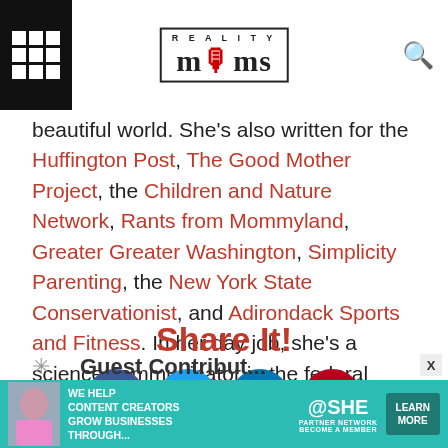Reality Moms
beautiful world. She’s also written for the Huffington Post, The Good Mother Project, the Children and Nature Network, Rants from Mommyland, Greater Greater Washington, Simplicity Parenting, the New York State Conservationist, and Adirondack Sports and Fitness. In her day job, she’s a science communicator in the federal government.
Share It!
[Figure (infographic): Social share buttons: Facebook (dark blue circle), Twitter (blue circle), LinkedIn (blue circle), Pinterest (dark red circle)]
[Figure (infographic): Advertisement banner: SHE Media Partner Network - We help content creators grow businesses through... Learn More]
Guest Contributor (partial)